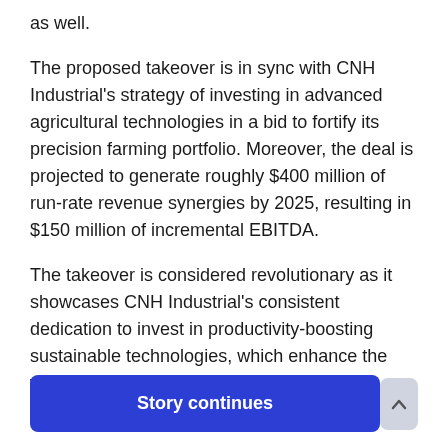as well.
The proposed takeover is in sync with CNH Industrial's strategy of investing in advanced agricultural technologies in a bid to fortify its precision farming portfolio. Moreover, the deal is projected to generate roughly $400 million of run-rate revenue synergies by 2025, resulting in $150 million of incremental EBITDA.
The takeover is considered revolutionary as it showcases CNH Industrial's consistent dedication to invest in productivity-boosting sustainable technologies, which enhance the well-being of farmers.
Story continues